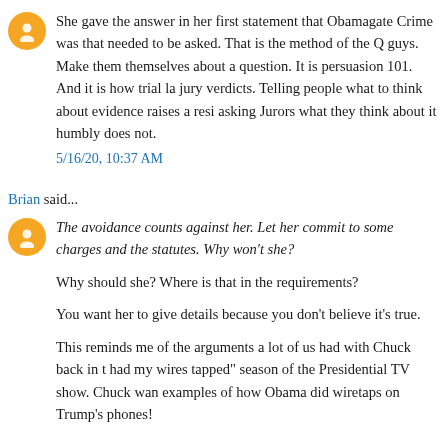She gave the answer in her first statement that Obamagate Crime was that needed to be asked. That is the method of the Q guys. Make them themselves about a question. It is persuasion 101. And it is how trial la jury verdicts. Telling people what to think about evidence raises a resi asking Jurors what they think about it humbly does not.
5/16/20, 10:37 AM
Brian said...
The avoidance counts against her. Let her commit to some charges and the statutes. Why won't she?
Why should she? Where is that in the requirements?
You want her to give details because you don't believe it's true.
This reminds me of the arguments a lot of us had with Chuck back in t had my wires tapped" season of the Presidential TV show. Chuck wan examples of how Obama did wiretaps on Trump's phones!